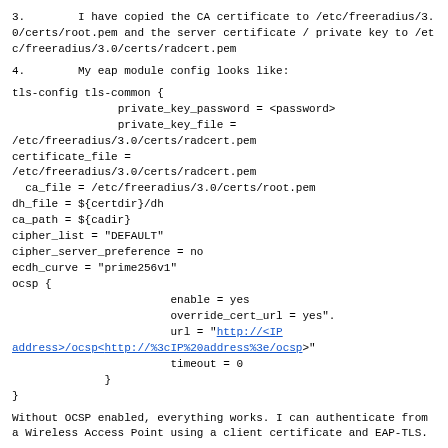3.        I have copied the CA certificate to /etc/freeradius/3.0/certs/root.pem and the server certificate / private key to /etc/freeradius/3.0/certs/radcert.pem
4.        My eap module config looks like:
tls-config tls-common {
                private_key_password = <password>
                private_key_file =
/etc/freeradius/3.0/certs/radcert.pem
certificate_file =
/etc/freeradius/3.0/certs/radcert.pem
  ca_file = /etc/freeradius/3.0/certs/root.pem
dh_file = ${certdir}/dh
ca_path = ${cadir}
cipher_list = "DEFAULT"
cipher_server_preference = no
ecdh_curve = "prime256v1"
ocsp {
                        enable = yes
                        override_cert_url = yes".
                        url = "http://<IP address>/ocsp<http://%3cIP%20address%3e/ocsp>"
                        timeout = 0
              }
}
Without OCSP enabled, everything works. I can authenticate from a Wireless Access Point using a client certificate and EAP-TLS.